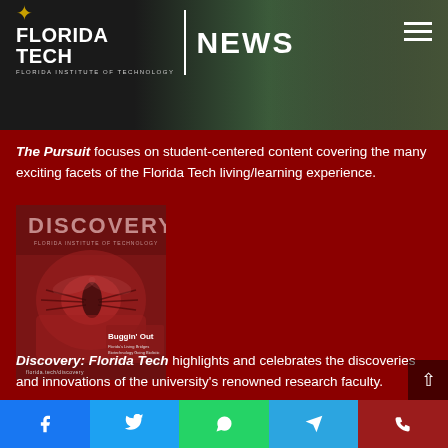Florida Tech NEWS
The Pursuit focuses on student-centered content covering the many exciting facets of the Florida Tech living/learning experience.
[Figure (photo): Cover of Discovery: Florida Tech magazine showing 'Buggin Out' issue with close-up of an insect on a red background]
Discovery: Florida Tech highlights and celebrates the discoveries and innovations of the university's renowned research faculty.